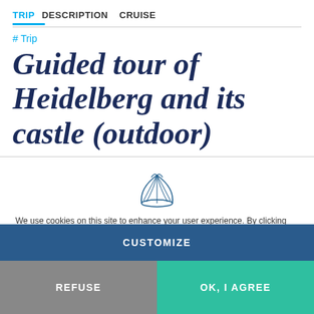TRIP DESCRIPTION CRUISE
# Trip
Guided tour of Heidelberg and its castle (outdoor)
[Figure (illustration): Shell / cruise line logo icon outline]
We use cookies on this site to enhance your user experience. By clicking any link on this page you are giving your consent for us to set cookies. For more details, click on "Learn more".
CUSTOMIZE
REFUSE
OK, I AGREE